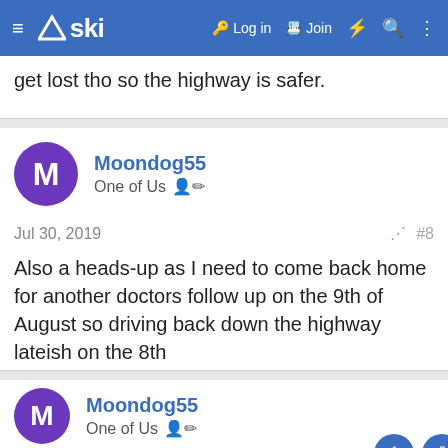≡ △ski  🔑 Log in  □ Join  ⚡ 🔍 ⋮
get lost tho so the highway is safer.
Moondog55
One of Us ✏
Jul 30, 2019  #8
Also a heads-up as I need to come back home for another doctors follow up on the 9th of August so driving back down the highway lateish on the 8th
Moondog55
One of Us ✏
Nov 28, 2021
Headed up on Monday if anybody wants a lift from Kalkallo